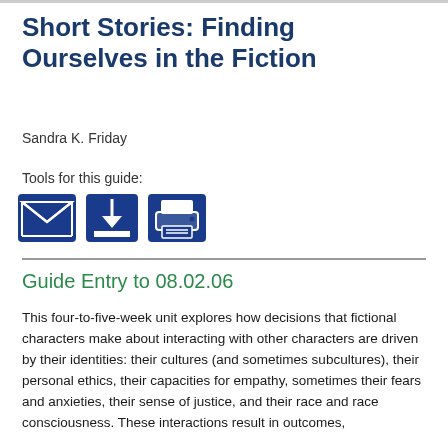Short Stories: Finding Ourselves in the Fiction
Sandra K. Friday
Tools for this guide:
[Figure (infographic): Three dark blue icons: envelope (email), download arrow, and printer representing tools for the guide]
Guide Entry to 08.02.06
This four-to-five-week unit explores how decisions that fictional characters make about interacting with other characters are driven by their identities: their cultures (and sometimes subcultures), their personal ethics, their capacities for empathy, sometimes their fears and anxieties, their sense of justice, and their race and race consciousness. These interactions result in outcomes, are acquisitions, mediations, and comes as a result